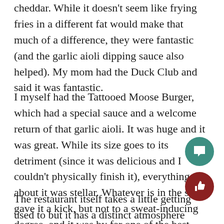cheddar. While it doesn't seem like frying fries in a different fat would make that much of a difference, they were fantastic (and the garlic aioli dipping sauce also helped). My mom had the Duck Club and said it was fantastic.
I myself had the Tattooed Moose Burger, which had a special sauce and a welcome return of that garlic aioli. It was huge and it was great. While its size goes to its detriment (since it was delicious and I couldn't physically finish it), everything else about it was stellar. Whatever is in the sauce gave it a kick, but not to a sweat-inducing degree, and it was by far one of the best burgers I've had in Charleston. Sandwiches range from $6.50 to $15.
The restaurant itself takes a little getting used to but it has a distinct atmosphere compared to oth